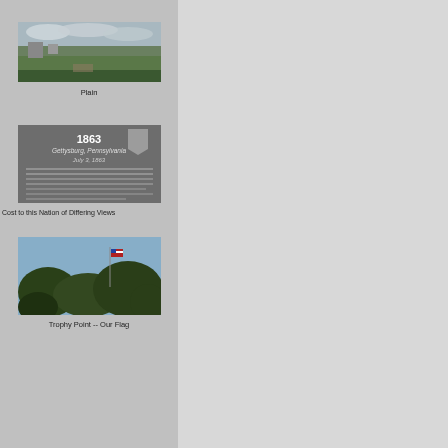[Figure (photo): Landscape photo showing a green field with buildings and hills in the background under a cloudy sky]
Plain
[Figure (photo): Photo of a dark commemorative plaque or marker dated 1863, Gettysburg, Pennsylvania, July 3, 1863, with white text]
Cost to this Nation of Differing Views
[Figure (photo): Photo of trees with a flag visible above them against a blue sky]
Trophy Point -- Our Flag